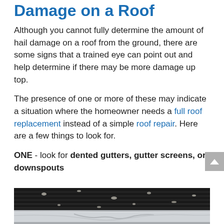Damage on a Roof
Although you cannot fully determine the amount of hail damage on a roof from the ground, there are some signs that a trained eye can point out and help determine if there may be more damage up top.
The presence of one or more of these may indicate a situation where the homeowner needs a full roof replacement instead of a simple roof repair. Here are a few things to look for.
ONE - look for dented gutters, gutter screens, or downspouts
[Figure (photo): Close-up photo of a dented gutter with dark roof shingles visible above, showing hail damage to the white/grey metal gutter which has visible dents and deformations along its length.]